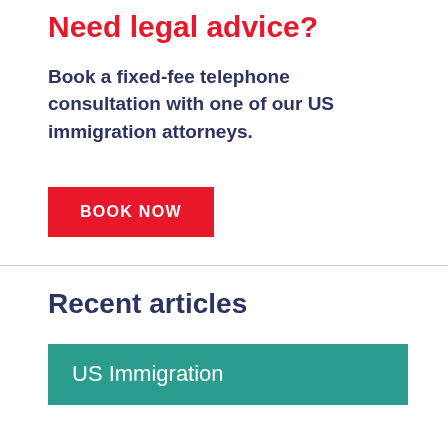Need legal advice?
Book a fixed-fee telephone consultation with one of our US immigration attorneys.
[Figure (other): Red button with white text reading BOOK NOW]
Recent articles
[Figure (other): Teal/green article card with white text reading 'US Immigration']